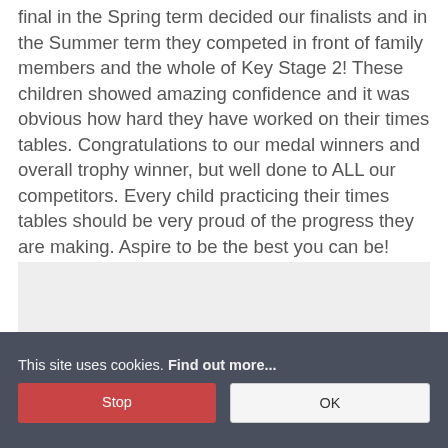final in the Spring term decided our finalists and in the Summer term they competed in front of family members and the whole of Key Stage 2!  These children showed amazing confidence and it was obvious how hard they have worked on their times tables.  Congratulations to our medal winners and overall trophy winner, but well done to ALL our competitors.  Every child practicing their times tables should be very proud of the progress they are making. Aspire to be the best you can be!
[Figure (photo): A light grey placeholder image box]
This site uses cookies. Find out more...